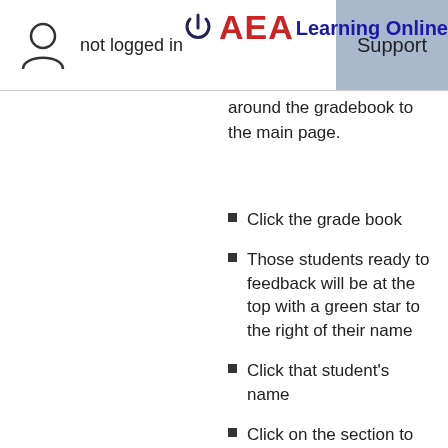not logged in | Support
[Figure (logo): AEA Learning Online logo with power button icon]
around the gradebook to the main page.
Click the grade book
Those students ready to feedback will be at the top with a green star to the right of their name
Click that student's name
Click on the section to view